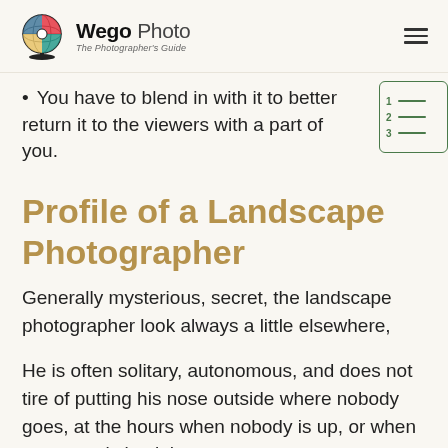Wego Photo — The Photographer's Guide
You have to blend in with it to better return it to the viewers with a part of you.
Profile of a Landscape Photographer
Generally mysterious, secret, the landscape photographer look always a little elsewhere,
He is often solitary, autonomous, and does not tire of putting his nose outside where nobody goes, at the hours when nobody is up, or when everyone is back home